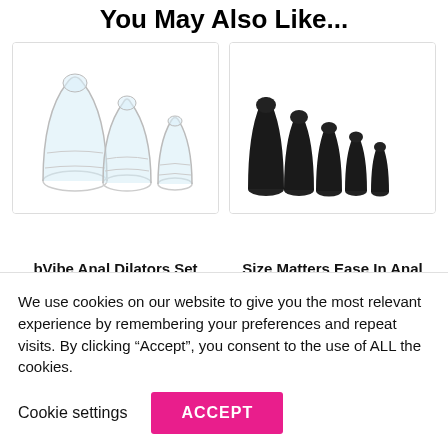You May Also Like...
[Figure (photo): Clear/transparent anal dilator set with multiple sizes showing rounded plug shapes]
[Figure (photo): Black anal dilator kit with 5 graduated sizes from large to small, each with a suction base]
bVibe Anal Dilators Set
Size Matters Ease In Anal Dilator Kit
We use cookies on our website to give you the most relevant experience by remembering your preferences and repeat visits. By clicking “Accept”, you consent to the use of ALL the cookies.
Cookie settings
ACCEPT